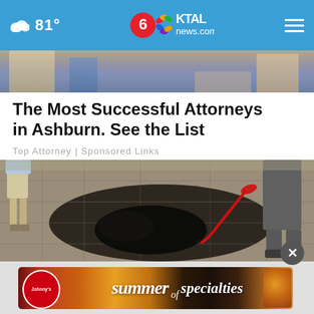81° | 6KTAL news.com
[Figure (photo): Top portion of an image showing people walking on a sidewalk]
The Most Successful Attorneys in Ashburn. See the List
Top Attorney | Sponsored Links
[Figure (photo): Photo of a raccoon on a leash being held by a person on a paved sidewalk]
[Figure (photo): Johnny's Summer of Specialties advertisement banner]